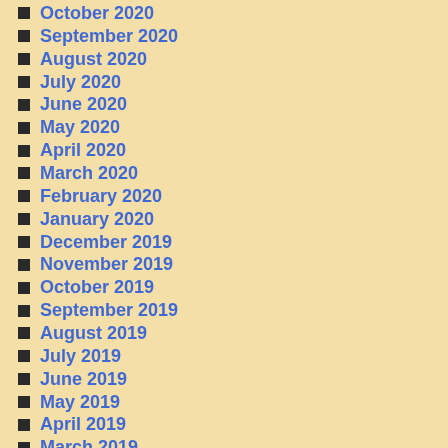October 2020
September 2020
August 2020
July 2020
June 2020
May 2020
April 2020
March 2020
February 2020
January 2020
December 2019
November 2019
October 2019
September 2019
August 2019
July 2019
June 2019
May 2019
April 2019
March 2019
February 2019
January 2019
December 2018
November 2018
October 2018
September 2018